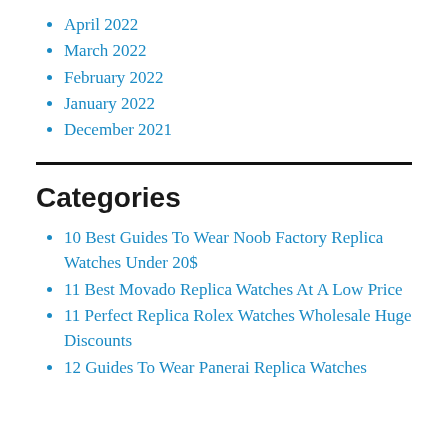April 2022
March 2022
February 2022
January 2022
December 2021
Categories
10 Best Guides To Wear Noob Factory Replica Watches Under 20$
11 Best Movado Replica Watches At A Low Price
11 Perfect Replica Rolex Watches Wholesale Huge Discounts
12 Guides To Wear Panerai Replica Watches